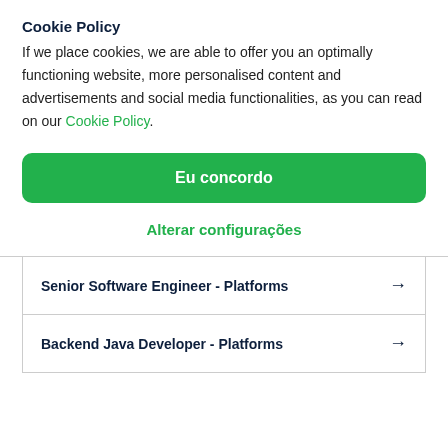Cookie Policy
If we place cookies, we are able to offer you an optimally functioning website, more personalised content and advertisements and social media functionalities, as you can read on our Cookie Policy.
Eu concordo
Alterar configurações
Senior Software Engineer - Platforms →
Backend Java Developer - Platforms →